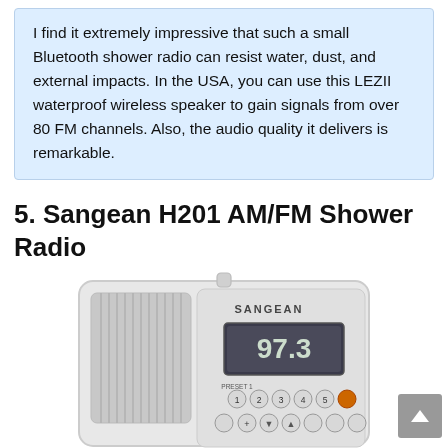I find it extremely impressive that such a small Bluetooth shower radio can resist water, dust, and external impacts. In the USA, you can use this LEZII waterproof wireless speaker to gain signals from over 80 FM channels. Also, the audio quality it delivers is remarkable.
5. Sangean H201 AM/FM Shower Radio
[Figure (photo): Photo of the Sangean H201 AM/FM Shower Radio, a white rectangular portable radio with a speaker grille on the left, a digital display showing 97.3, and control buttons. A scroll-to-top button (gray, with upward arrow) appears in the bottom-right corner. A green bar is visible at the very bottom edge.]